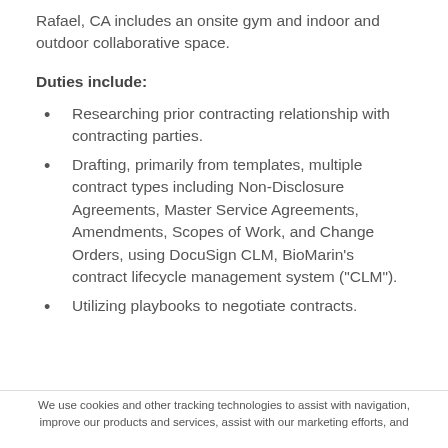Rafael, CA includes an onsite gym and indoor and outdoor collaborative space.
Duties include:
Researching prior contracting relationship with contracting parties.
Drafting, primarily from templates, multiple contract types including Non-Disclosure Agreements, Master Service Agreements, Amendments, Scopes of Work, and Change Orders, using DocuSign CLM, BioMarin's contract lifecycle management system ("CLM").
Utilizing playbooks to negotiate contracts.
We use cookies and other tracking technologies to assist with navigation, improve our products and services, assist with our marketing efforts, and